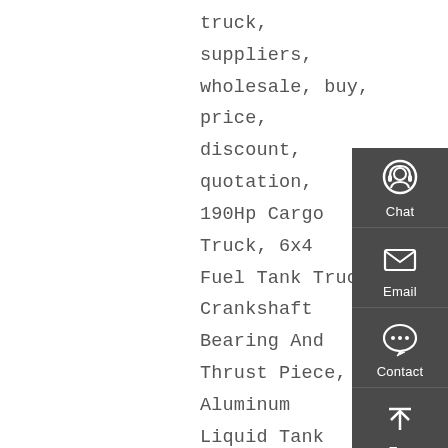truck, suppliers, wholesale, buy, price, discount, quotation, 190Hp Cargo Truck, 6x4 Fuel Tank Truck, Crankshaft Bearing And Thrust Piece, Aluminum Liquid Tank Semi-Trailer, 4x2 Commercial Van Cargo Truck, Semi-Trailer – Sinotruk Box Lorry Trucks for Sale HOWO Mini Cargo Truck China 4X2 Light Fence Gattle Grill Stake
[Figure (infographic): Dark grey sidebar panel with three buttons: Chat (headset icon), Email (envelope icon), Contact (speech bubble icon), and Top (up arrow icon). Separated by red horizontal lines.]